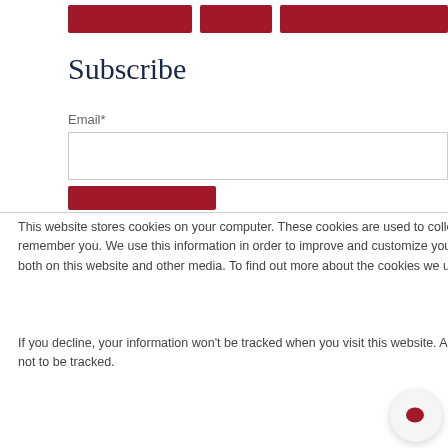[Figure (screenshot): Top navigation bar with three dark red/crimson buttons partially visible at the top of the page]
Subscribe
Email*
[Figure (screenshot): Email input text field (empty) and a red subscribe button below]
This website stores cookies on your computer. These cookies are used to collect information about how you interact with our website and allow us to remember you. We use this information in order to improve and customize your browsing experience and for analytics and metrics about our visitors both on this website and other media. To find out more about the cookies we use, see our Privacy Policy.
If you decline, your information won't be tracked when you visit this website. A single cookie will be used in your browser to remember your preference not to be tracked.
[Figure (screenshot): Accept button (dark red filled) and Decline button (outlined in red) side by side, plus a chat bubble icon in bottom right]